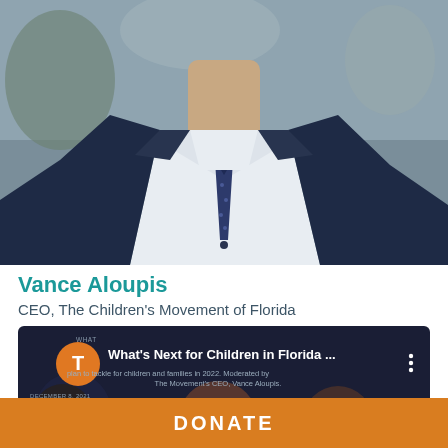[Figure (photo): Professional headshot of Vance Aloupis wearing a navy suit, white dress shirt, and patterned tie, photographed from chest up with a blurred outdoor background]
Vance Aloupis
CEO, The Children's Movement of Florida
[Figure (screenshot): Event card screenshot showing 'What's Next for Children in Florida ...' with an orange T avatar icon, dark background, date December 8, 2021, 10 A.M. to noon, and subtitle text about The Movement's CEO Vance Aloupis]
DONATE